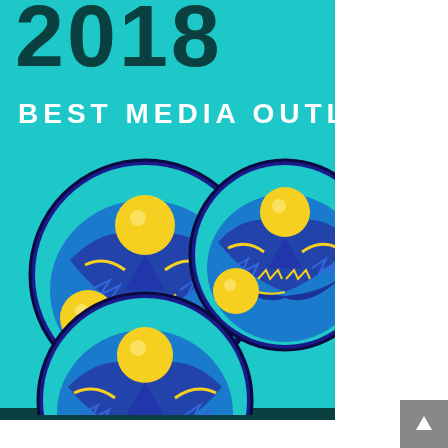[Figure (illustration): Award badge graphic with teal background showing '2018 BEST MEDIA OUTLET' text and three circular globe/planet logos with blue swirls and yellow spheres arranged in a triangle pattern. Page also has a grey scroll-to-top button in bottom right corner.]